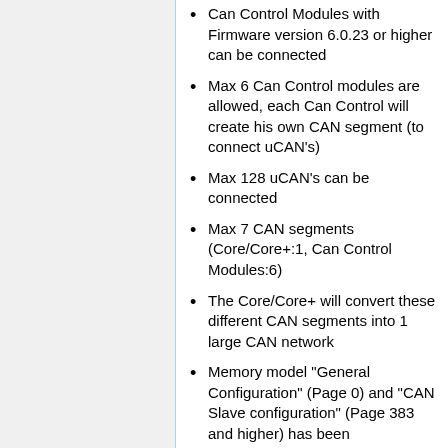Can Control Modules with Firmware version 6.0.23 or higher can be connected
Max 6 Can Control modules are allowed, each Can Control will create his own CAN segment (to connect uCAN's)
Max 128 uCAN's can be connected
Max 7 CAN segments (Core/Core+:1, Can Control Modules:6)
The Core/Core+ will convert these different CAN segments into 1 large CAN network
Memory model "General Configuration" (Page 0) and "CAN Slave configuration" (Page 383 and higher) has been